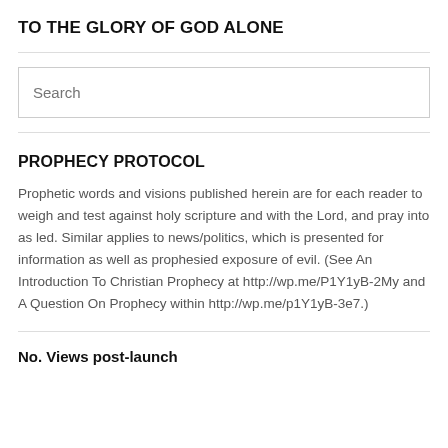TO THE GLORY OF GOD ALONE
[Figure (other): Search input box with placeholder text 'Search']
PROPHECY PROTOCOL
Prophetic words and visions published herein are for each reader to weigh and test against holy scripture and with the Lord, and pray into as led. Similar applies to news/politics, which is presented for information as well as prophesied exposure of evil. (See An Introduction To Christian Prophecy at http://wp.me/P1Y1yB-2My and A Question On Prophecy within http://wp.me/p1Y1yB-3e7.)
No. Views post-launch